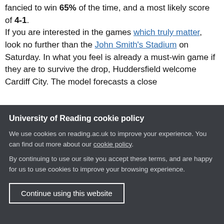fancied to win 65% of the time, and a most likely score of 4-1. If you are interested in the games which truly matter, look no further than the John Smith's Stadium on Saturday. In what you feel is already a must-win game if they are to survive the drop, Huddersfield welcome Cardiff City. The model forecasts a close
University of Reading cookie policy
We use cookies on reading.ac.uk to improve your experience. You can find out more about our cookie policy.
By continuing to use our site you accept these terms, and are happy for us to use cookies to improve your browsing experience.
Continue using this website